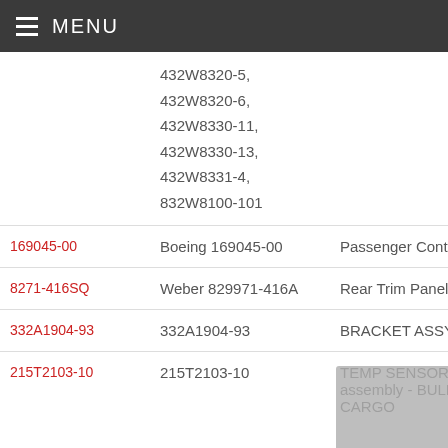MENU
| Part Number | OEM Part Number | Description |
| --- | --- | --- |
|  | 432W8320-5, 432W8320-6, 432W8330-11, 432W8330-13, 432W8331-4, 832W8100-101 |  |
| 169045-00 | Boeing 169045-00 | Passenger Control Unit |
| 8271-416SQ | Weber 829971-416A | Rear Trim Panel |
| 332A1904-93 | 332A1904-93 | BRACKET ASSY |
| 215T2103-10 | 215T2103-10 | TEMP SENSOR assembly - BULK CARGO |